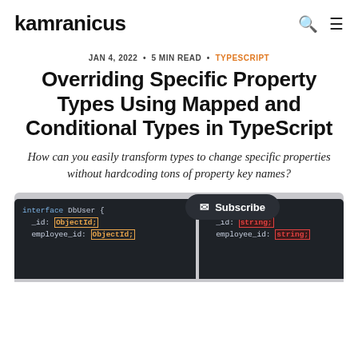kamranicus
JAN 4, 2022 • 5 MIN READ • TYPESCRIPT
Overriding Specific Property Types Using Mapped and Conditional Types in TypeScript
How can you easily transform types to change specific properties without hardcoding tons of property key names?
[Figure (screenshot): Code screenshot showing two TypeScript interfaces side by side: DbUser with _id: ObjectId and employee_id: ObjectId, and another interface with _id: string and employee_id: string. A Subscribe button is overlaid.]